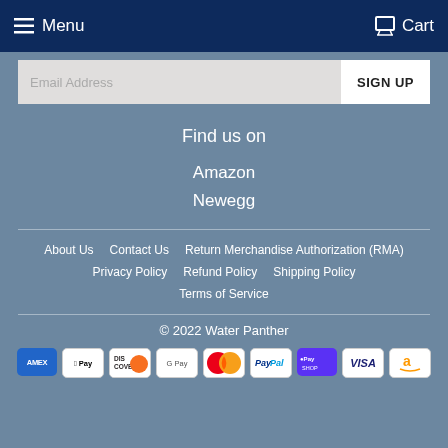Menu   Cart
Email Address  SIGN UP
Find us on
Amazon
Newegg
About Us
Contact Us
Return Merchandise Authorization (RMA)
Privacy Policy
Refund Policy
Shipping Policy
Terms of Service
© 2022 Water Panther
[Figure (other): Payment method icons: American Express, Apple Pay, Discover, Google Pay, Mastercard, PayPal, Shop Pay, Visa, Amazon Pay]